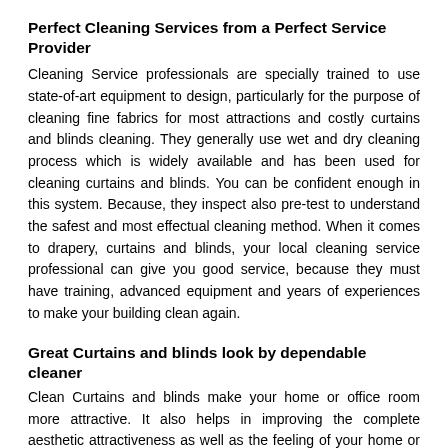Perfect Cleaning Services from a Perfect Service Provider
Cleaning Service professionals are specially trained to use state-of-art equipment to design, particularly for the purpose of cleaning fine fabrics for most attractions and costly curtains and blinds cleaning. They generally use wet and dry cleaning process which is widely available and has been used for cleaning curtains and blinds. You can be confident enough in this system. Because, they inspect also pre-test to understand the safest and most effectual cleaning method. When it comes to drapery, curtains and blinds, your local cleaning service professional can give you good service, because they must have training, advanced equipment and years of experiences to make your building clean again.
Great Curtains and blinds look by dependable cleaner
Clean Curtains and blinds make your home or office room more attractive. It also helps in improving the complete aesthetic attractiveness as well as the feeling of your home or office room, the interior and the connections generally. Curtains and blinds